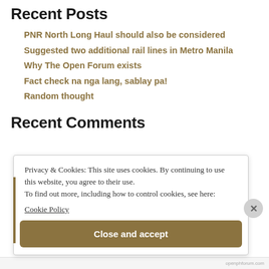Recent Posts
PNR North Long Haul should also be considered
Suggested two additional rail lines in Metro Manila
Why The Open Forum exists
Fact check na nga lang, sablay pa!
Random thought
Recent Comments
Privacy & Cookies: This site uses cookies. By continuing to use this website, you agree to their use.
To find out more, including how to control cookies, see here:
Cookie Policy
Close and accept